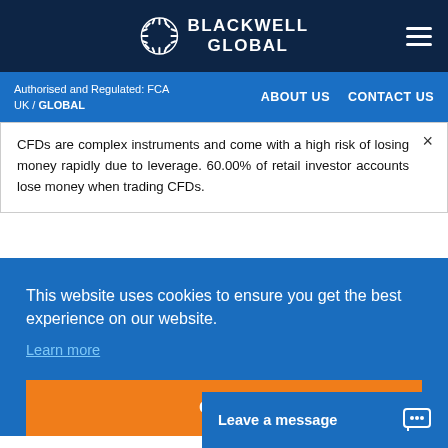BLACKWELL GLOBAL
Authorised and Regulated: FCA UK / GLOBAL | ABOUT US | CONTACT US
CFDs are complex instruments and come with a high risk of losing money rapidly due to leverage. 60.00% of retail investor accounts lose money when trading CFDs.
Speed up an MT4 Backtest
If you're not backtesting your strategies then how do
This website uses cookies to ensure you get the best experience on our website.
Learn more
Got it!
Leave a message